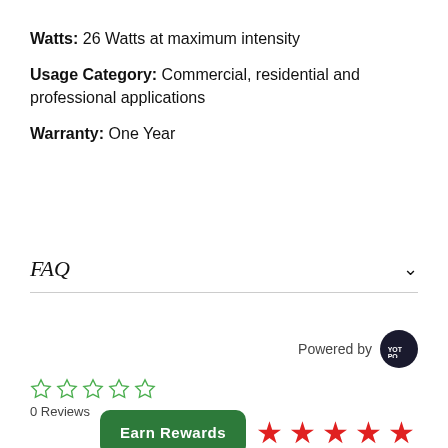Watts: 26 Watts at maximum intensity
Usage Category: Commercial, residential and professional applications
Warranty: One Year
FAQ
Powered by [Yotpo logo]
[Figure (other): Five empty star outlines in green indicating 0 star rating, with '0 Reviews' text below]
0 Reviews
[Figure (other): Green 'Earn Rewards' button followed by five filled red stars]